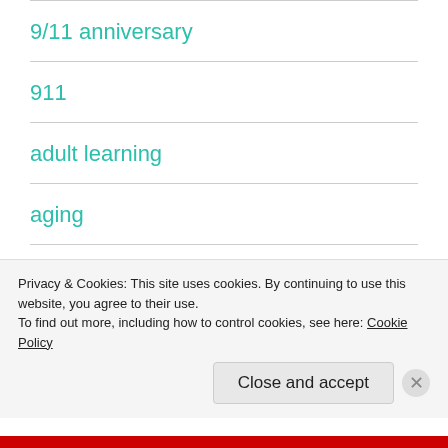9/11 anniversary
911
adult learning
aging
alternative health
alternative medicine
Privacy & Cookies: This site uses cookies. By continuing to use this website, you agree to their use.
To find out more, including how to control cookies, see here: Cookie Policy
Close and accept